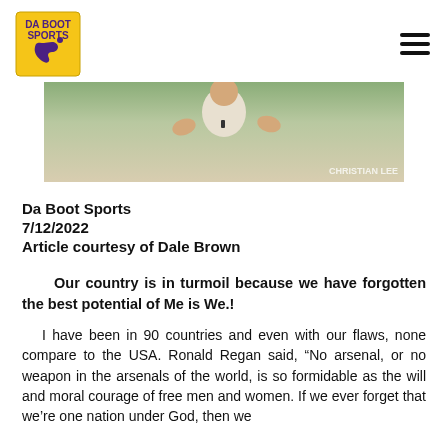[Figure (logo): Da Boot Sports logo with Louisiana shape in purple and gold]
[Figure (photo): A person in a white shirt gesturing with their hands, with 'CHRISTIAN LEE' watermark visible]
Da Boot Sports
7/12/2022
Article courtesy of Dale Brown
Our country is in turmoil because we have forgotten the best potential of Me is We.!
I have been in 90 countries and even with our flaws, none compare to the USA. Ronald Regan said, “No arsenal, or no weapon in the arsenals of the world, is so formidable as the will and moral courage of free men and women. If we ever forget that we’re one nation under God, then we